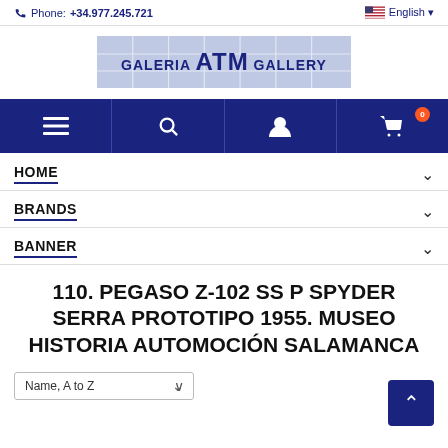Phone: +34.977.245.721  English
[Figure (logo): GALERIA ATM GALLERY logo on light blue grid background]
[Figure (screenshot): Navigation bar with hamburger menu, search, user, and cart (0) icons on dark blue background]
HOME
BRANDS
BANNER
110. PEGASO Z-102 SS P SPYDER SERRA PROTOTIPO 1955. MUSEO HISTORIA AUTOMOCIÓN SALAMANCA
Name, A to Z